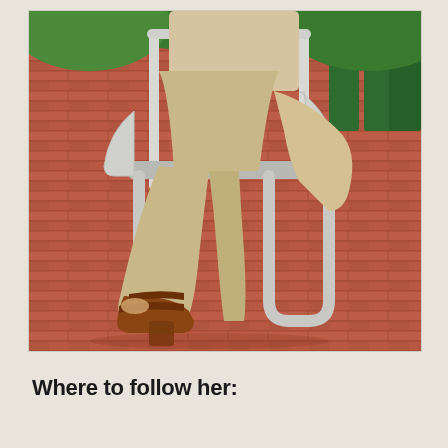[Figure (photo): A person wearing a beige/tan wide-leg dress or trousers seated on a white metal chair with armrests, outdoors on a red/terracotta brick patio. The person is wearing brown leather block-heel sandals/mules. A beige or cream-colored jacket is draped over the chair. Green chairs are visible in the background with greenery/trees.]
Where to follow her: